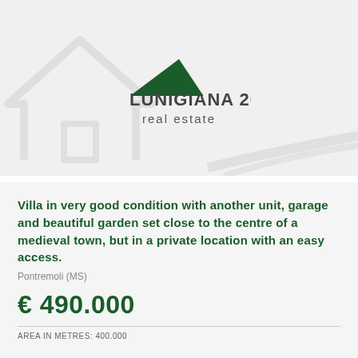[Figure (logo): Lunigiana 2000 real estate logo with dark green roof/crescent icon and large house outline watermark in background]
Villa in very good condition with another unit, garage and beautiful garden set close to the centre of a medieval town, but in a private location with an easy access.
Pontremoli (MS)
€ 490.000
AREA IN METRES: 400.000